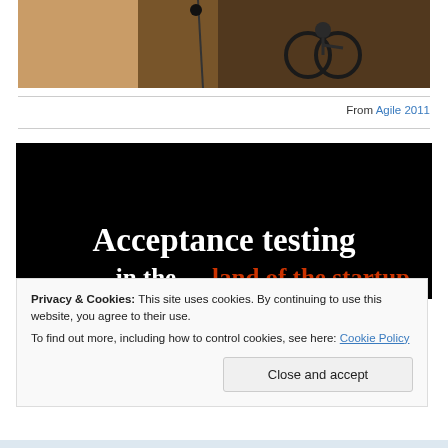[Figure (photo): Partial photo showing a wheelchair and conference room setting, cropped at top]
From Agile 2011
[Figure (screenshot): Dark/black slide image with text 'Acceptance testing in the land of the startup' where 'land of the startup' is in red/orange color]
Privacy & Cookies: This site uses cookies. By continuing to use this website, you agree to their use.
To find out more, including how to control cookies, see here: Cookie Policy
Close and accept